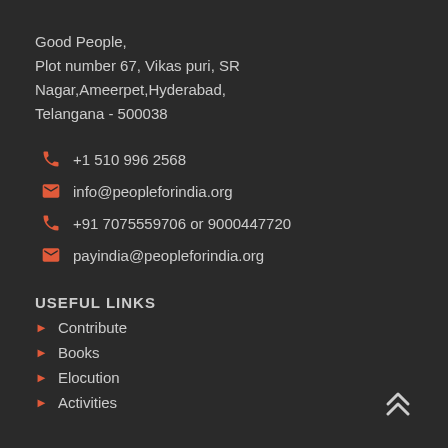Good People,
Plot number 67, Vikas puri, SR Nagar,Ameerpet,Hyderabad,
Telangana - 500038
+1 510 996 2568
info@peopleforindia.org
+91 7075559706 or 9000447720
payindia@peopleforindia.org
USEFUL LINKS
Contribute
Books
Elocution
Activities